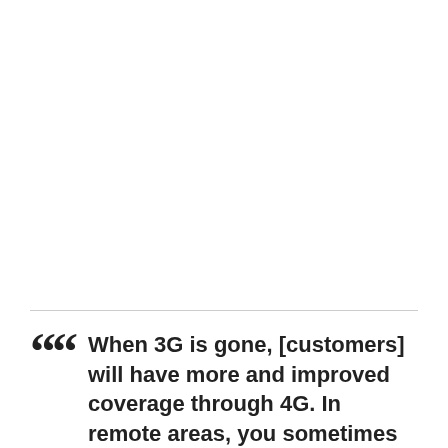When 3G is gone, [customers] will have more and improved coverage through 4G. In remote areas, you sometimes only have a 3G signal at...